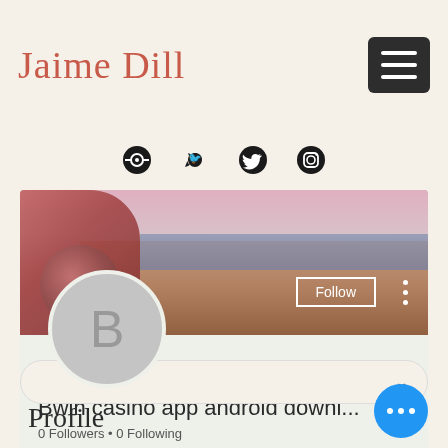Jaime Dill
[Figure (screenshot): Social media profile page screenshot showing Jaime Dill blog header with hamburger menu, social icons (Spotify, Twitter, Instagram), a hero banner image of a coastal road scene with pink tones, a user avatar with letter B, Follow button, profile name 'Bwin casino app android downl...', follower counts '0 Followers • 0 Following', a dropdown row with chevron, Profile label, and a blue FAB button with three dots]
Bwin casino app android downl...
0 Followers • 0 Following
Profile